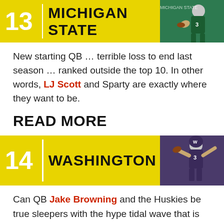[Figure (infographic): Banner for #13 Michigan State with yellow background, number 13, team name, and player photo on green background]
New starting QB … terrible loss to end last season … ranked outside the top 10. In other words, LJ Scott and Sparty are exactly where they want to be.
READ MORE
[Figure (infographic): Banner for #14 Washington with yellow background, number 14, team name, and quarterback player photo on purple background]
Can QB Jake Browning and the Huskies be true sleepers with the hype tidal wave that is growing behind them?
READ MORE